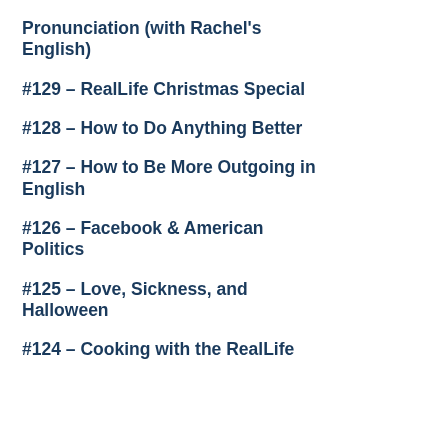Pronunciation (with Rachel's English)
#129 – RealLife Christmas Special
#128 – How to Do Anything Better
#127 – How to Be More Outgoing in English
#126 – Facebook & American Politics
#125 – Love, Sickness, and Halloween
#124 – Cooking with the RealLife